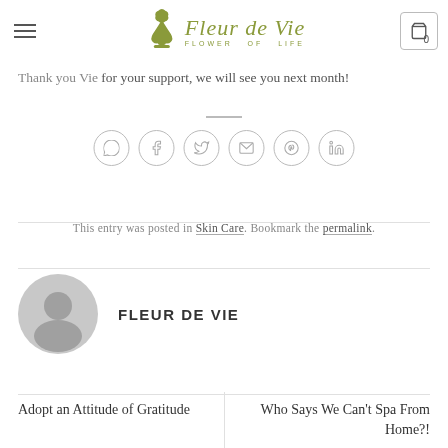Fleur de Vie - Flower of Life
and we will love it back.
Thank you Vie for your support, we will see you next month!
[Figure (other): Social sharing icons: WhatsApp, Facebook, Twitter, Email, Pinterest, LinkedIn]
This entry was posted in Skin Care. Bookmark the permalink.
FLEUR DE VIE
Adopt an Attitude of Gratitude
Who Says We Can't Spa From Home?!